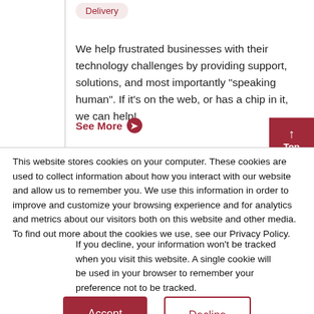Delivery
We help frustrated businesses with their technology challenges by providing support, solutions, and most importantly "speaking human". If it's on the web, or has a chip in it, we can help!
See More →
This website stores cookies on your computer. These cookies are used to collect information about how you interact with our website and allow us to remember you. We use this information in order to improve and customize your browsing experience and for analytics and metrics about our visitors both on this website and other media. To find out more about the cookies we use, see our Privacy Policy.
If you decline, your information won't be tracked when you visit this website. A single cookie will be used in your browser to remember your preference not to be tracked.
Accept
Decline